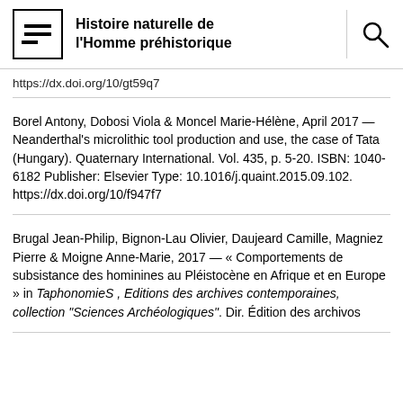Histoire naturelle de l'Homme préhistorique
https://dx.doi.org/10/gt59q7
Borel Antony, Dobosi Viola & Moncel Marie-Hélène, April 2017 — Neanderthal's microlithic tool production and use, the case of Tata (Hungary). Quaternary International. Vol. 435, p. 5-20. ISBN: 1040-6182 Publisher: Elsevier Type: 10.1016/j.quaint.2015.09.102. https://dx.doi.org/10/f947f7
Brugal Jean-Philip, Bignon-Lau Olivier, Daujeard Camille, Magniez Pierre & Moigne Anne-Marie, 2017 — « Comportements de subsistance des hominines au Pléistocène en Afrique et en Europe » in TaphonomieS , Editions des archives contemporaines, collection "Sciences Archéologiques". Dir. Édition des archivos